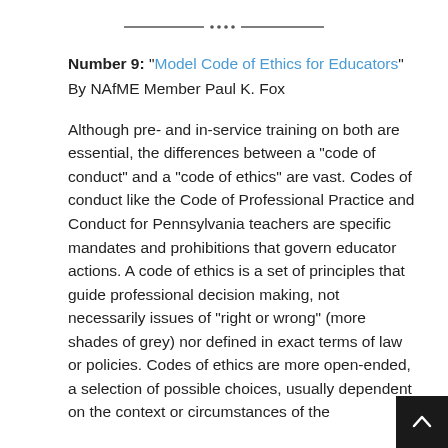[Figure (other): Decorative horizontal divider with dots and lines]
Number 9: “Model Code of Ethics for Educators”
By NAfME Member Paul K. Fox
Although pre- and in-service training on both are essential, the differences between a “code of conduct” and a “code of ethics” are vast. Codes of conduct like the Code of Professional Practice and Conduct for Pennsylvania teachers are specific mandates and prohibitions that govern educator actions. A code of ethics is a set of principles that guide professional decision making, not necessarily issues of “right or wrong” (more shades of grey) nor defined in exact terms of law or policies. Codes of ethics are more open-ended, a selection of possible choices, usually dependent on the context or circumstances of the